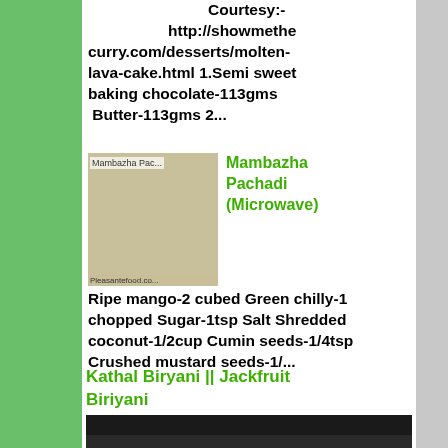Courtesy:- http://showmethecurry.com/desserts/molten-lava-cake.html 1.Semi sweet baking chocolate-113gms Butter-113gms 2...
[Figure (photo): Photo of Mambazha Pachadi dish in a bowl with mangoes]
Mambazha Pachadi (Microwave)
Ripe mango-2 cubed Green chilly-1 chopped Sugar-1tsp Salt Shredded coconut-1/2cup Cumin seeds-1/4tsp Crushed mustard seeds-1/...
Kathal Biryani || Jackfruit Biriyani
[Figure (photo): Photo related to Kathal Biryani / Jackfruit Biriyani recipe]